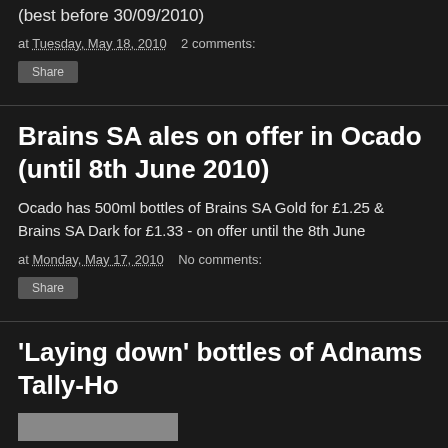(best before 30/09/2010)
at Tuesday, May 18, 2010   2 comments:
Share
Brains SA ales on offer in Ocado (until 8th June 2010)
Ocado has 500ml bottles of Brains SA Gold for £1.25 & Brains SA Dark for £1.33 - on offer until the 8th June
at Monday, May 17, 2010   No comments:
Share
'Laying down' bottles of Adnams Tally-Ho